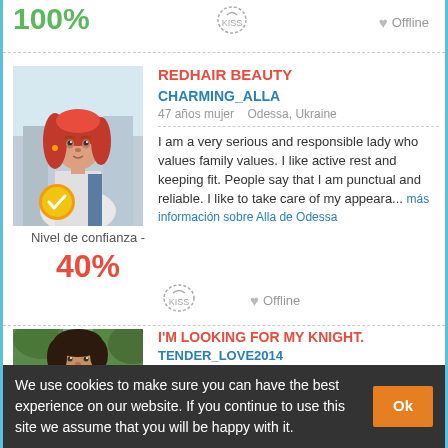100%
[Figure (photo): Profile photo of a red-haired woman in a white top]
Nivel de confianza -
40%
REDHAIR BEAUTY
CHARMING_ALLA
47 años mujer   Odessa, Ukraine
I am a very serious and responsible lady who values family values. I like active rest and keeping fit. People say that I am punctual and reliable. I like to take care of my appeara... más información sobre Alla de Odessa
I'M LOOKING FOR MY KNIGHT.
TENDER_LOVE2014
50 años mujer   Odessa, Ukraine
[Figure (photo): Profile photo of a dark-haired woman smiling outdoors]
No words can describe a person rightly, especially when a person tries to describe
We use cookies to make sure you can have the best experience on our website. If you continue to use this site we assume that you will be happy with it.
Ok